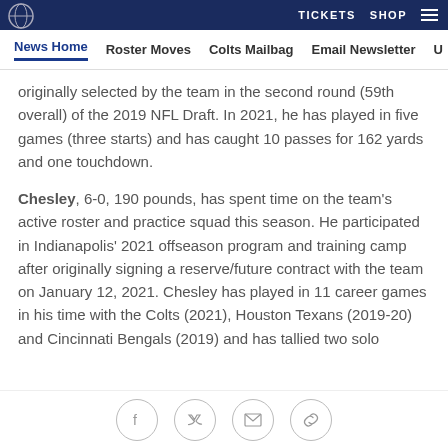TICKETS  SHOP
News Home  Roster Moves  Colts Mailbag  Email Newsletter  U
originally selected by the team in the second round (59th overall) of the 2019 NFL Draft. In 2021, he has played in five games (three starts) and has caught 10 passes for 162 yards and one touchdown.
Chesley, 6-0, 190 pounds, has spent time on the team's active roster and practice squad this season. He participated in Indianapolis' 2021 offseason program and training camp after originally signing a reserve/future contract with the team on January 12, 2021. Chesley has played in 11 career games in his time with the Colts (2021), Houston Texans (2019-20) and Cincinnati Bengals (2019) and has tallied two solo